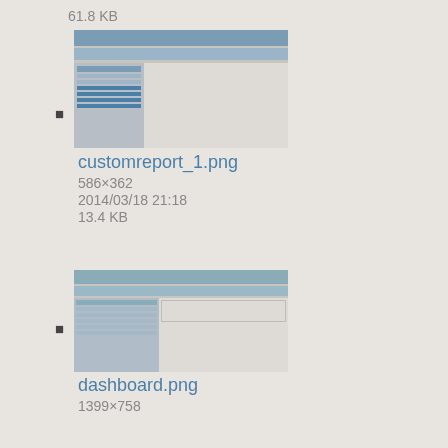61.8 KB
[Figure (screenshot): Thumbnail of customreport_1.png showing a web interface]
customreport_1.png
586×362
2014/03/18 21:18
13.4 KB
[Figure (screenshot): Thumbnail of dashboard.png showing a dashboard interface]
dashboard.png
1399×758
2012/04/30 22:23
75.2 KB
[Figure (screenshot): Thumbnail of dashboard2.png showing a dashboard interface]
dashboard2.png
1668×931
2013/06/05 23:05
88.5 KB